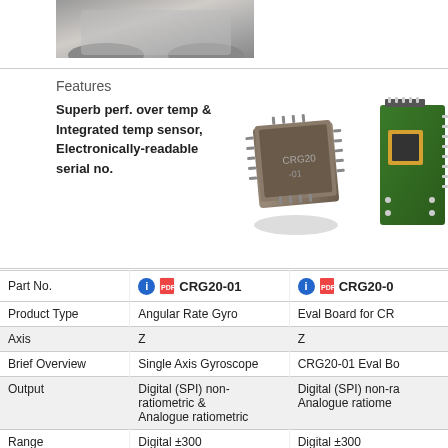[Figure (photo): Photo of a sensor/gyroscope component from above, partially visible at top of page]
Features
Superb perf. over temp & Integrated temp sensor, Electronically-readable serial no.
[Figure (photo): CRG20-01 angular rate gyroscope chip, brown/black ceramic LCC package with metallic pins on all sides]
[Figure (photo): CRG20-01 evaluation board, green PCB with gyro chip and connector pins]
| Part No. | CRG20-01 | CRG20-0... |
| --- | --- | --- |
| Product Type | Angular Rate Gyro | Eval Board for CR... |
| Axis | Z | Z |
| Brief Overview | Single Axis Gyroscope | CRG20-01 Eval Bo... |
| Output | Digital (SPI) non-ratiometric & Analogue ratiometric | Digital (SPI) non-ra... Analogue ratiome... |
| Range | Digital ±300
Analogue ±75°/s | Digital ±300
Analogue ±75°/s |
| Sensitvity - Analogue | 26.67mV/°/s | 26.67mV/°/s |
| Sensitivity - Digital | 0.03125°/bit | 0.03125°/bit |
| Bandwidth (Hz) | >40 | >40 |